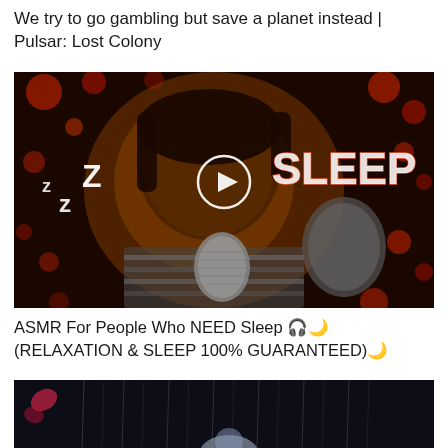We try to go gambling but save a planet instead | Pulsar: Lost Colony
[Figure (screenshot): Video thumbnail: woman with eyes closed holding microphone close to her face, bokeh lights in background. White text 'zzZ' on left and 'SLEEP' on right in glowing style. Play button circle in center.]
ASMR For People Who NEED Sleep 🎧🌙(RELAXATION & SLEEP 100% GUARANTEED)🌙
[Figure (screenshot): Video thumbnail: dark rain scene with a figure silhouette, partial view at bottom of page.]